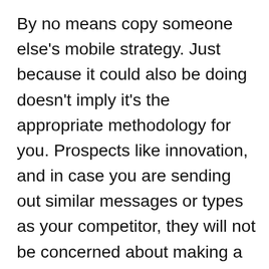By no means copy someone else's mobile strategy. Just because it could also be doing doesn't imply it's the appropriate methodology for you. Prospects like innovation, and in case you are sending out similar messages or types as your competitor, they will not be concerned about making a change to you. Get coaching. Many vendors supply training applications on natural methods to safely and correctly run a cell advertising and marketing campaign. These individuals will educate you on all the things from how typically to send out offers and messages to the laws you might want to